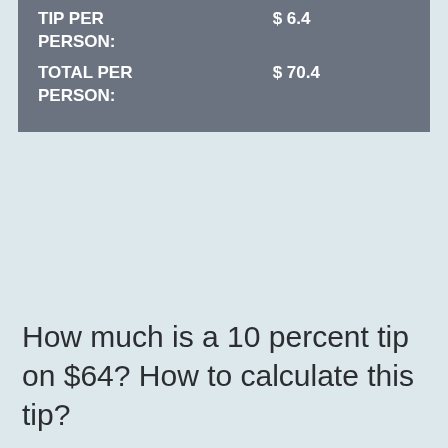| TIP PER PERSON: | $ 6.4 |
| TOTAL PER PERSON: | $ 70.4 |
How much is a 10 percent tip on $64? How to calculate this tip?